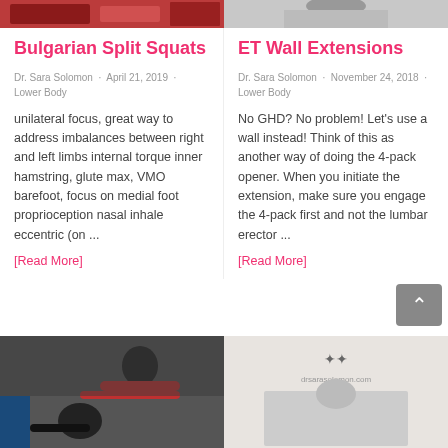[Figure (photo): Top-left cropped photo showing red equipment (gym)]
[Figure (photo): Top-right cropped photo showing a person]
Bulgarian Split Squats
Dr. Sara Solomon · April 21, 2019 · Lower Body
unilateral focus, great way to address imbalances between right and left limbs internal torque inner hamstring, glute max, VMO barefoot, focus on medial foot proprioception nasal inhale eccentric (on ...
[Read More]
ET Wall Extensions
Dr. Sara Solomon · November 24, 2018 · Lower Body
No GHD? No problem! Let's use a wall instead! Think of this as another way of doing the 4-pack opener. When you initiate the extension, make sure you engage the 4-pack first and not the lumbar erector ...
[Read More]
[Figure (photo): Bottom-left photo of person doing exercise with red equipment]
[Figure (photo): Bottom-right photo on drsarasolomon.com background]